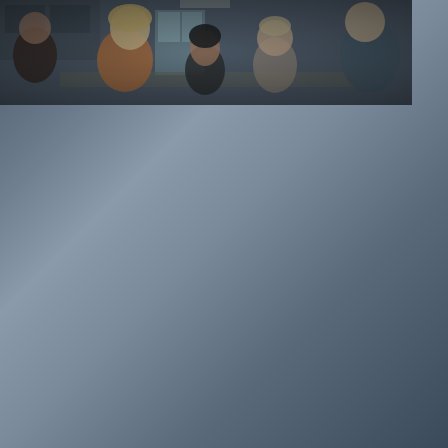[Figure (logo): Travelling logo with dragonfly insect above text 'travelling' and subtitle 'les films qui voyagent' on black background]
FOLLOW US
[Figure (illustration): Social media icons: Facebook, Twitter, Vimeo, Instagram circles with white borders, followed by vertical divider and FR language selector]
FR
VOIR LA NAVIGATION
[Figure (photo): Film still showing group of people gathered around a table in a kitchen setting, muted cinematic tones]